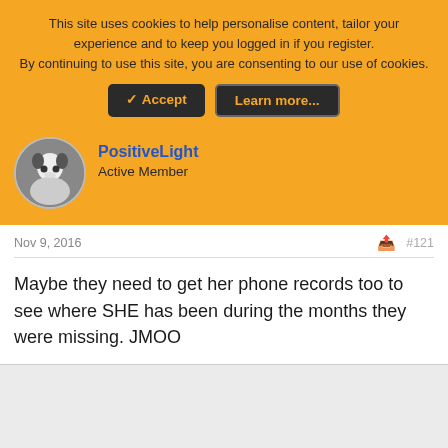This site uses cookies to help personalise content, tailor your experience and to keep you logged in if you register. By continuing to use this site, you are consenting to our use of cookies.
✓ Accept   Learn more...
PositiveLight
Active Member
Nov 9, 2016
#121
Maybe they need to get her phone records too to see where SHE has been during the months they were missing. JMOO